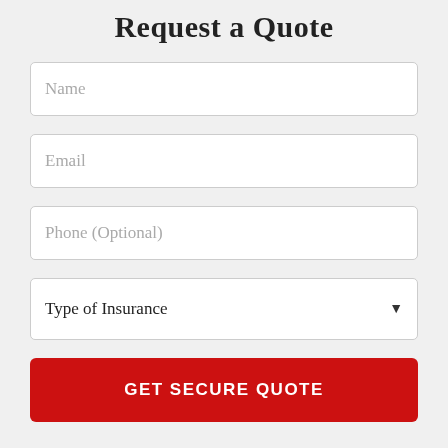Request a Quote
Name
Email
Phone (Optional)
Type of Insurance
GET SECURE QUOTE
Customer Revie…